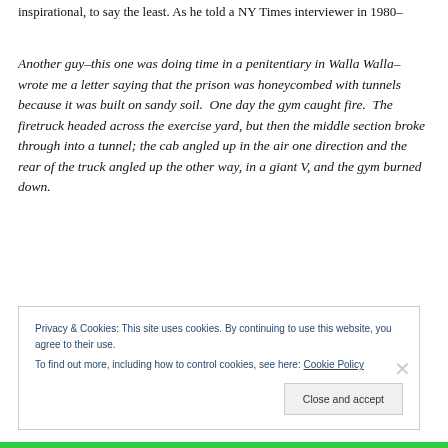inspirational, to say the least. As he told a NY Times interviewer in 1980–
Another guy–this one was doing time in a penitentiary in Walla Walla–wrote me a letter saying that the prison was honeycombed with tunnels because it was built on sandy soil.  One day the gym caught fire.  The firetruck headed across the exercise yard, but then the middle section broke through into a tunnel; the cab angled up in the air one direction and the rear of the truck angled up the other way, in a giant V, and the gym burned down.
Privacy & Cookies: This site uses cookies. By continuing to use this website, you agree to their use.
To find out more, including how to control cookies, see here: Cookie Policy
Close and accept